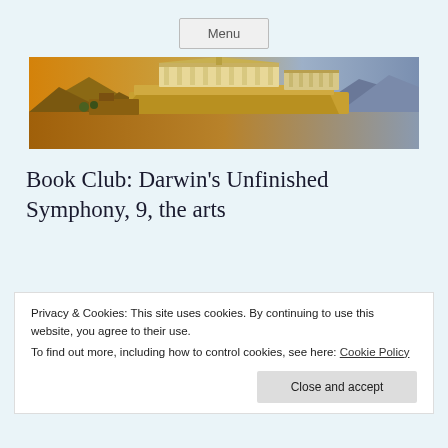Menu
[Figure (illustration): Panoramic painting of the ancient Acropolis of Athens with golden warm tones on the left transitioning to cooler blue-purple hues on the right, showing classical Greek temples and statues]
Book Club: Darwin’s Unfinished Symphony, 9, the arts
Privacy & Cookies: This site uses cookies. By continuing to use this website, you agree to their use.
To find out more, including how to control cookies, see here: Cookie Policy
Close and accept